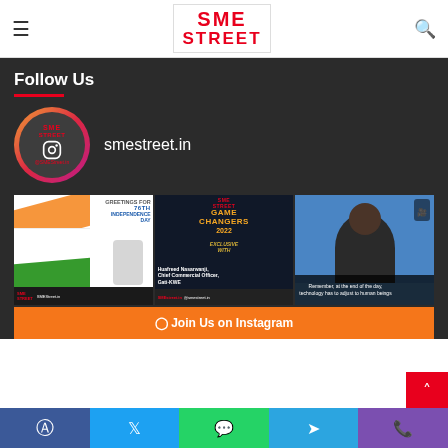SME STREET
Follow Us
smestreet.in
[Figure (photo): Three Instagram post thumbnails: Independence Day greeting, SME Street Game Changers 2022 with Huafreed Nasarwanji, and a business speaker quote about technology and human beings]
Join Us on Instagram
Facebook | Twitter | WhatsApp | Telegram | Phone